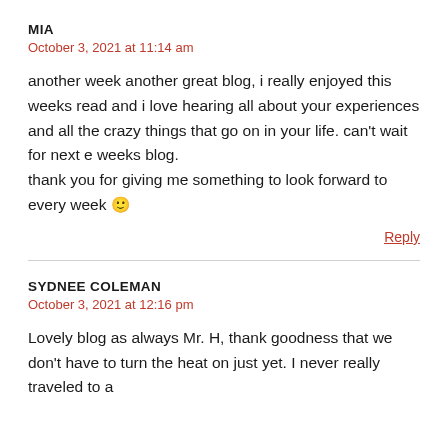MIA
October 3, 2021 at 11:14 am
another week another great blog, i really enjoyed this weeks read and i love hearing all about your experiences and all the crazy things that go on in your life. can't wait for next e weeks blog.
thank you for giving me something to look forward to every week 🙂
Reply
SYDNEE COLEMAN
October 3, 2021 at 12:16 pm
Lovely blog as always Mr. H, thank goodness that we don't have to turn the heat on just yet. I never really traveled to a